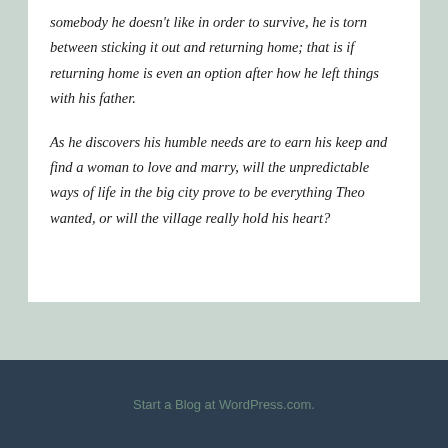somebody he doesn't like in order to survive, he is torn between sticking it out and returning home; that is if returning home is even an option after how he left things with his father.
As he discovers his humble needs are to earn his keep and find a woman to love and marry, will the unpredictable ways of life in the big city prove to be everything Theo wanted, or will the village really hold his heart?
Start a Blog at WordPress.com.